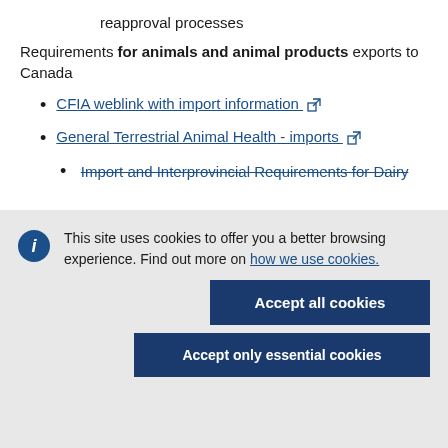reapproval processes
Requirements for animals and animal products exports to Canada
CFIA weblink with import information [external link]
General Terrestrial Animal Health - imports [external link]
Import and Interprovincial Requirements for Dairy
This site uses cookies to offer you a better browsing experience. Find out more on how we use cookies.
Accept all cookies
Accept only essential cookies